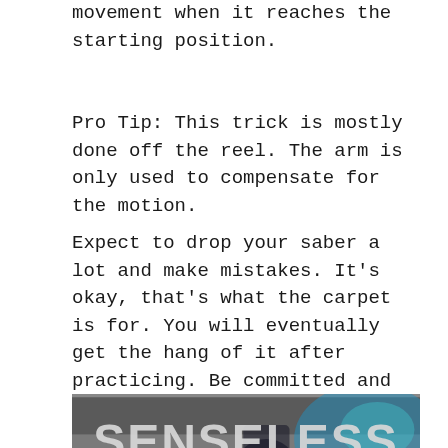movement when it reaches the starting position.
Pro Tip: This trick is mostly done off the reel. The arm is only used to compensate for the motion.
Expect to drop your saber a lot and make mistakes. It’s okay, that’s what the carpet is for. You will eventually get the hang of it after practicing. Be committed and you’ll swing your lightsaber like a pro in just a week!
[Figure (photo): A video thumbnail or image showing the word SENSELESS in large bold letters against a dark background with colored lighting effects.]